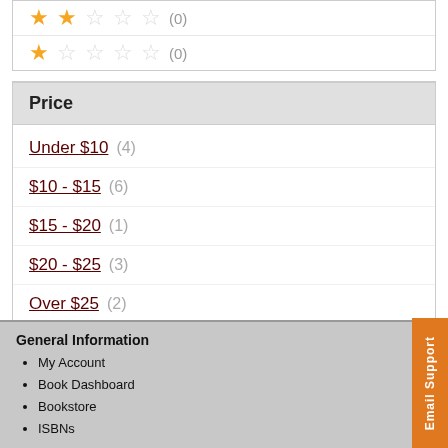★★☆☆☆ (0)
★☆☆☆☆ (0)
Price
Under $10 (4)
$10 - $15 (6)
$15 - $20 (1)
$20 - $25 (3)
Over $25 (2)
General Information
My Account
Book Dashboard
Bookstore
ISBNs